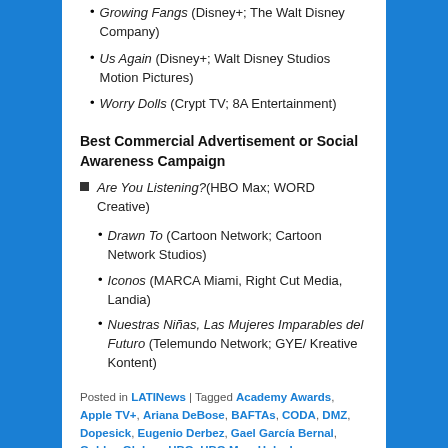Growing Fangs (Disney+; The Walt Disney Company)
Us Again (Disney+; Walt Disney Studios Motion Pictures)
Worry Dolls (Crypt TV; 8A Entertainment)
Best Commercial Advertisement or Social Awareness Campaign
Are You Listening?(HBO Max; WORD Creative)
Drawn To (Cartoon Network; Cartoon Network Studios)
Iconos (MARCA Miami, Right Cut Media, Landia)
Nuestras Niñas, Las Mujeres Imparables del Futuro (Telemundo Network; GYE/ Kreative Kontent)
Posted in LATINews | Tagged Academy Awards, Apple TV+, Ariana DeBose, BAFTAs, CODA, DMZ, Dopesick, Eugenio Derbez, Gael García Bernal, Golden Globes, HBO, HBO Max, Hulu, Imagen Awards, Imagen Foundation, Old, Oscars, Rosario Dawson, SAG Awards, Schmigadoon!, Station Eleven, The Valet, West Side Story | Leave a reply